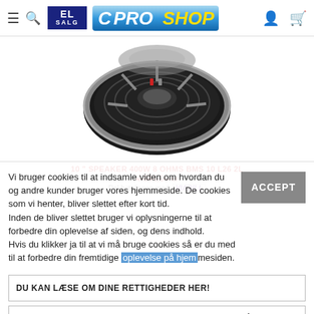EL SALG | CPROSHOP
[Figure (photo): Overhead view of a large black loudspeaker/woofer component showing the back/basket with terminals, against white background]
10" SPEAKER 400W 8 OHMS BMS 10 L26 2L
4.391,00 kr
Del betalingen med VIABILL
Vi bruger cookies til at indsamle viden om hvordan du og andre kunder bruger vores hjemmeside. De cookies som vi henter, bliver slettet efter kort tid.
Inden de bliver slettet bruger vi oplysningerne til at forbedre din oplevelse af siden, og dens indhold.
Hvis du klikker ja til at vi må bruge cookies så er du med til at forbedre din fremtidige oplevelse på hjemmesiden.
ACCEPT
DU KAN LÆSE OM DINE RETTIGHEDER HER!
DU KAN LÆSE MERE OM COOKIES VED AT KLIKKE PÅ DENNE LINJE
[Figure (photo): Partial view of another speaker component at the bottom of the page]